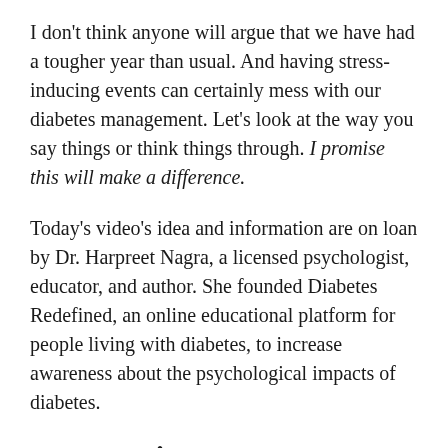I don't think anyone will argue that we have had a tougher year than usual. And having stress-inducing events can certainly mess with our diabetes management. Let's look at the way you say things or think things through. I promise this will make a difference.
Today's video's idea and information are on loan by Dr. Harpreet Nagra, a licensed psychologist, educator, and author. She founded Diabetes Redefined, an online educational platform for people living with diabetes, to increase awareness about the psychological impacts of diabetes.
My Question To You